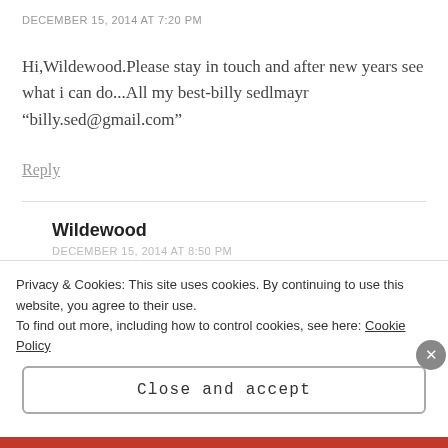DECEMBER 15, 2014 AT 7:20 PM
Hi,Wildewood.Please stay in touch and after new years see what i can do...All my best-billy sedlmayr “billy.sed@gmail.com”
Reply
Wildewood
DECEMBER 15, 2014 AT 8:50 PM
Privacy & Cookies: This site uses cookies. By continuing to use this website, you agree to their use.
To find out more, including how to control cookies, see here: Cookie Policy
Close and accept